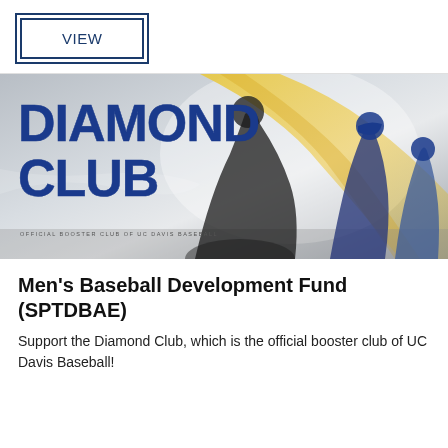VIEW
[Figure (photo): Diamond Club banner image featuring baseball players and bold blue text reading DIAMOND CLUB with subtitle 'Official Booster Club of UC Davis Baseball']
Men's Baseball Development Fund (SPTDBAE)
Support the Diamond Club, which is the official booster club of UC Davis Baseball!